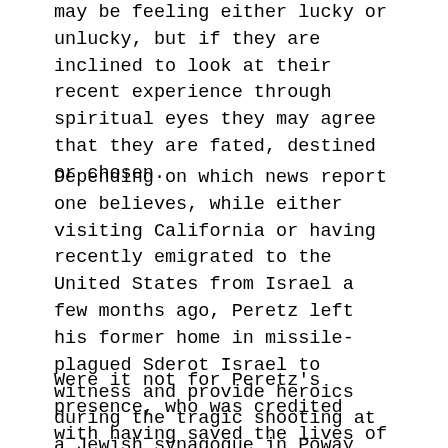may be feeling either lucky or unlucky, but if they are inclined to look at their recent experience through spiritual eyes they may agree that they are fated, destined or chosen.
Depending on which news report one believes, while either visiting California or having recently emigrated to the United States from Israel a few months ago, Peretz left his former home in missile-plagued Sderot Israel to witness and provide heroics during the tragic shooting at a Jewish synagogue in Poway California that resulted in one death and three injuries.
Were it not for Peretz's presence, who was credited with having saved the lives of several children during the attack, the casualties would have been far greater. "It doesn't matter where we go, we have